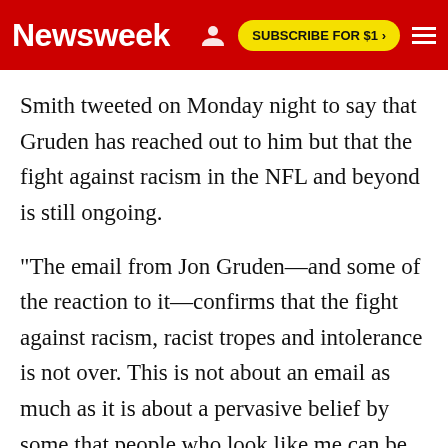Newsweek | SUBSCRIBE FOR $1 >
Smith tweeted on Monday night to say that Gruden has reached out to him but that the fight against racism in the NFL and beyond is still ongoing.
"The email from Jon Gruden—and some of the reaction to it—confirms that the fight against racism, racist tropes and intolerance is not over. This is not about an email as much as it is about a pervasive belief by some that people who look like me can be treated as less," Smith wrote.